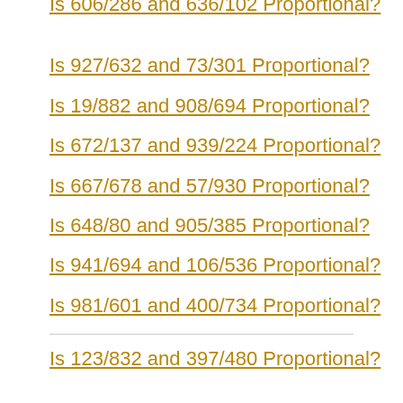Is 606/286 and 636/102 Proportional?
Is 927/632 and 73/301 Proportional?
Is 19/882 and 908/694 Proportional?
Is 672/137 and 939/224 Proportional?
Is 667/678 and 57/930 Proportional?
Is 648/80 and 905/385 Proportional?
Is 941/694 and 106/536 Proportional?
Is 981/601 and 400/734 Proportional?
Is 123/832 and 397/480 Proportional?